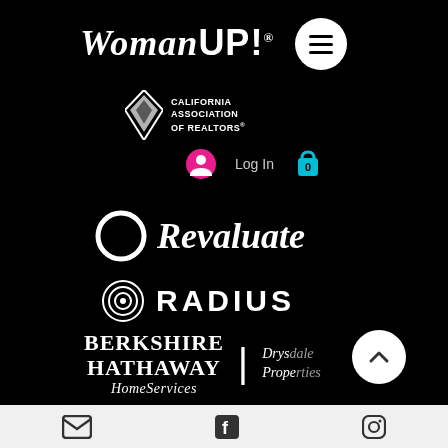[Figure (logo): WomanUP! logo with California Association of Realtors logo on black background]
[Figure (screenshot): Navigation UI showing login icon, Log In text, and shopping cart with 0 items]
[Figure (logo): Revaluate logo - circle O with cursive Revaluate text on black background]
[Figure (logo): RADIUS logo - concentric circles icon with RADIUS text on black background]
[Figure (logo): Berkshire Hathaway HomeServices | Drysdale Properties logo on black background]
[Figure (infographic): Footer with email, Facebook, and Instagram social icons on light background]